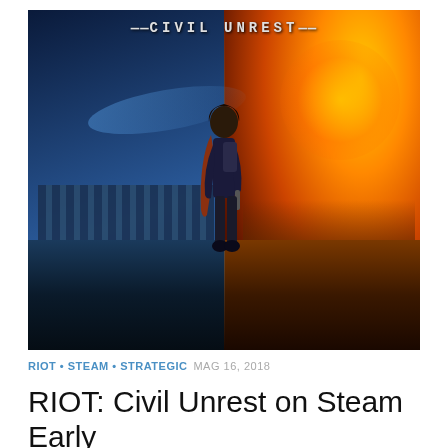[Figure (illustration): Game cover art for RIOT: Civil Unrest. Split composition: left half in cold blue tones showing a police line with riot shields, right half in warm orange/fire tones showing a crowd. A central hooded figure stands with back to viewer facing both scenes. Title text '——CIVIL UNREST——' appears at top.]
RIOT • STEAM • STRATEGIC MAG 16, 2018
RIOT: Civil Unrest on Steam Early Access